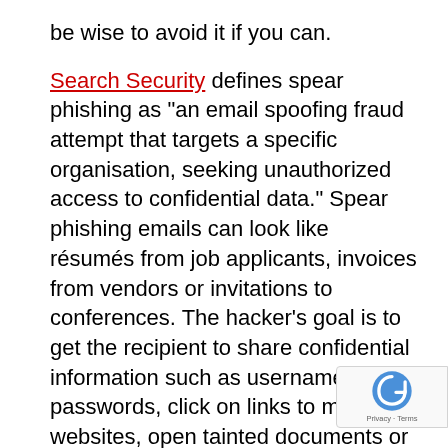be wise to avoid it if you can.
Search Security defines spear phishing as "an email spoofing fraud attempt that targets a specific organisation, seeking unauthorized access to confidential data." Spear phishing emails can look like résumés from job applicants, invoices from vendors or invitations to conferences. The hacker's goal is to get the recipient to share confidential information such as usernames and passwords, click on links to malicious websites, open tainted documents or get involved in some kind of underhanded activity.
In her article for Entrepreneur.com, Riva Richmond warns that spear phishing emails are crafty. Hackers will address the emails to specific employees and even go so far as to mine LinkedIn for enough information to lend the emails greater